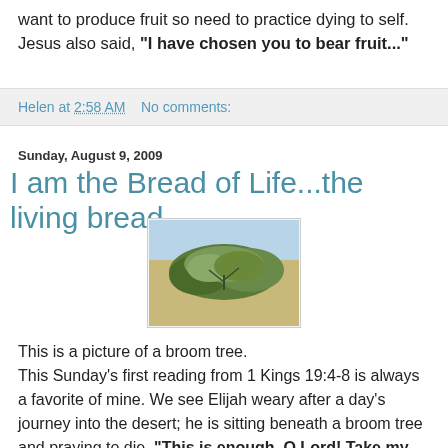want to produce fruit so need to practice dying to self. Jesus also said, "I have chosen you to bear fruit..."
Helen at 2:58 AM    No comments:
Sunday, August 9, 2009
I am the Bread of Life...the living bread
[Figure (photo): Photograph of a broom tree in a desert landscape with sandy ground and scrub brush.]
This is a picture of a broom tree.
This Sunday's first reading from 1 Kings 19:4-8 is always a favorite of mine. We see Elijah weary after a day's journey into the desert; he is sitting beneath a broom tree and praying to die. "This is enough, O Lord! Take my life, for I am no better than my fathers." How often do I want to cry out to the Lord that "this is enough!" and then, like Elijah, I just go to sleep.